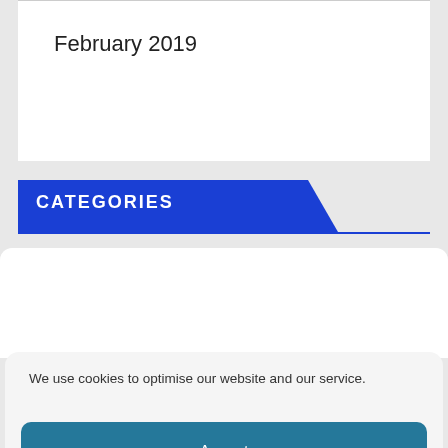February 2019
CATEGORIES
We use cookies to optimise our website and our service.
Accept
Deny
Preferences
Cookie Policy